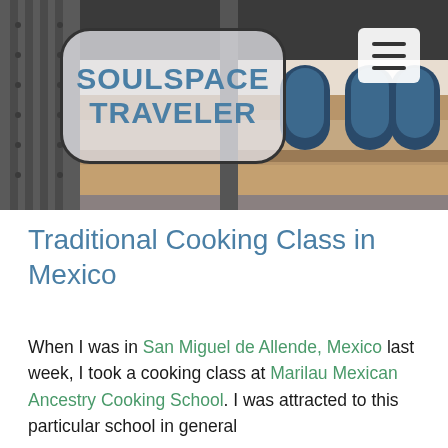[Figure (photo): Header photo of a historical building facade with ornate windows and tilework. Overlaid with the Soulspace Traveler logo in a rounded rectangle bubble and a hamburger menu button in the top right.]
Traditional Cooking Class in Mexico
When I was in San Miguel de Allende, Mexico last week, I took a cooking class at Marilau Mexican Ancestry Cooking School. I was attracted to this particular school in general